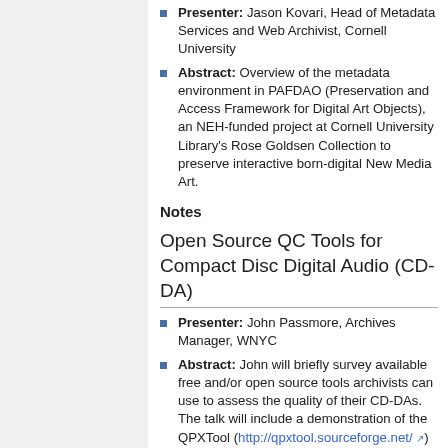Presenter: Jason Kovari, Head of Metadata Services and Web Archivist, Cornell University
Abstract: Overview of the metadata environment in PAFDAO (Preservation and Access Framework for Digital Art Objects), an NEH-funded project at Cornell University Library's Rose Goldsen Collection to preserve interactive born-digital New Media Art.
Notes
Open Source QC Tools for Compact Disc Digital Audio (CD-DA)
Presenter: John Passmore, Archives Manager, WNYC
Abstract: John will briefly survey available free and/or open source tools archivists can use to assess the quality of their CD-DAs. The talk will include a demonstration of the QPXTool (http://qpxtool.sourceforge.net/)